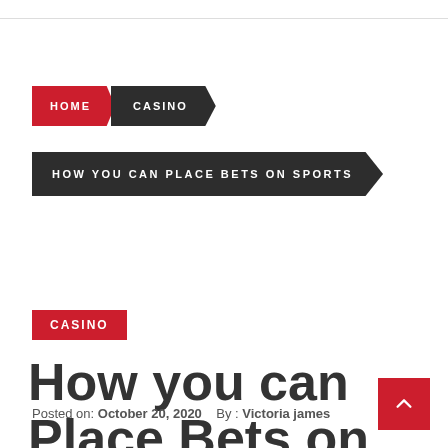HOME > CASINO
HOW YOU CAN PLACE BETS ON SPORTS
CASINO
How you can Place Bets on Sports
Posted on: October 20, 2020    By : Victoria james